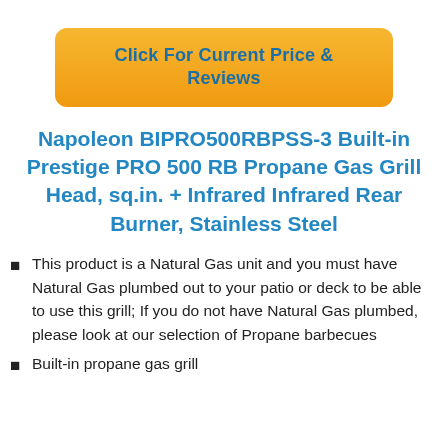[Figure (other): Orange rounded button with text 'Click For Current Price & Reviews']
Napoleon BIPRO500RBPSS-3 Built-in Prestige PRO 500 RB Propane Gas Grill Head, sq.in. + Infrared Infrared Rear Burner, Stainless Steel
This product is a Natural Gas unit and you must have Natural Gas plumbed out to your patio or deck to be able to use this grill; If you do not have Natural Gas plumbed, please look at our selection of Propane barbecues
Built-in propane gas grill